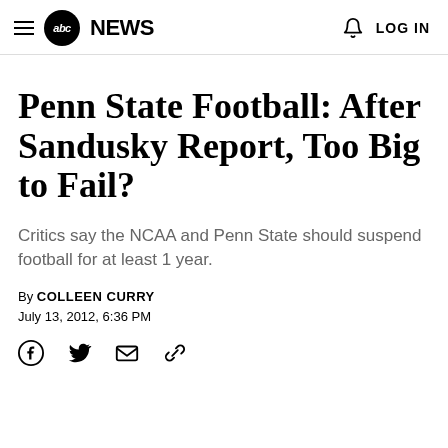abc NEWS  LOG IN
Penn State Football: After Sandusky Report, Too Big to Fail?
Critics say the NCAA and Penn State should suspend football for at least 1 year.
By COLLEEN CURRY
July 13, 2012, 6:36 PM
[Figure (illustration): Social sharing icons: Facebook, Twitter, Email, Link]